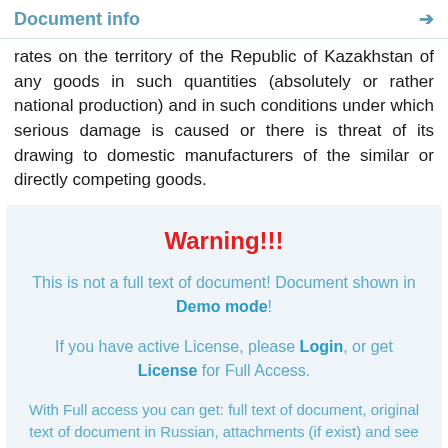Document info
rates on the territory of the Republic of Kazakhstan of any goods in such quantities (absolutely or rather national production) and in such conditions under which serious damage is caused or there is threat of its drawing to domestic manufacturers of the similar or directly competing goods.
Warning!!!
This is not a full text of document! Document shown in Demo mode!
If you have active License, please Login, or get License for Full Access.
With Full access you can get: full text of document, original text of document in Russian, attachments (if exist) and see History and Statistics of your work.
Get License for Full Access Now